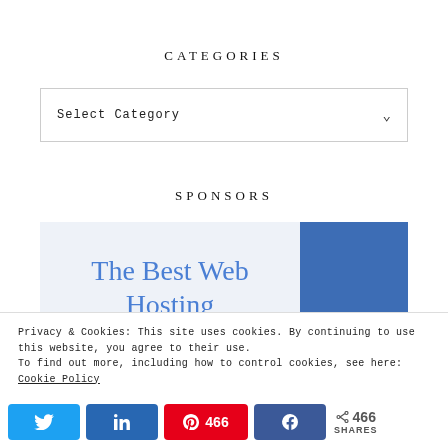CATEGORIES
Select Category
SPONSORS
[Figure (illustration): Web hosting advertisement banner with light blue background showing text 'The Best Web Hosting' in blue serif font on the left, and a solid blue rectangle on the right.]
Privacy & Cookies: This site uses cookies. By continuing to use this website, you agree to their use.
To find out more, including how to control cookies, see here:
Cookie Policy
< 466 SHARES (social share buttons: Twitter, LinkedIn, Pinterest 466, Facebook)